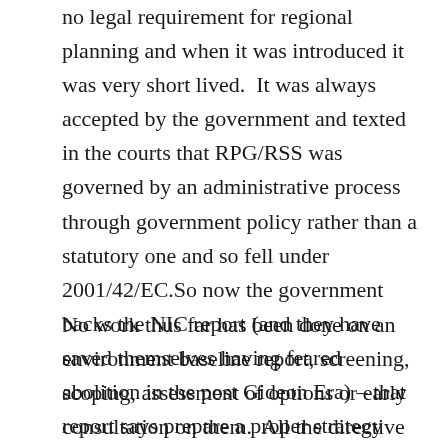no legal requirement for regional planning and when it was introduced it was very short lived.  It was always accepted by the government and texted in the courts that RPG/RSS was governed by an administrative process through government policy rather than a statutory one and so fell under 2001/42/EC.So now the government backs the NIC report (and they have saved themselves having feared abolition in the post Gideon Era) – that report says prepare a proper strategy covering economics, transport and land use/housing – including the location of Garden Cities/Towns etc.
No work thus far has been done on an environment baseline report, screening, scoping, assessment of options or early consultation on them.  All the directive stuff.  That Now kicks in with full legal force.  If the DCLG tried to circumvent this the locational announcement of